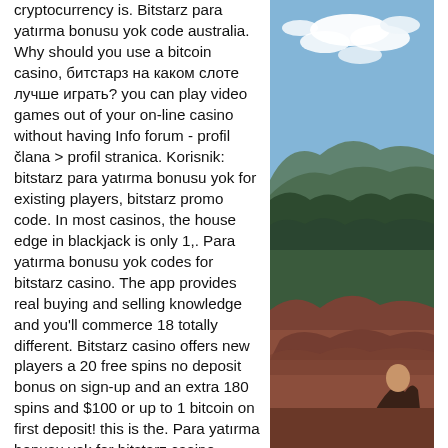cryptocurrency is. Bitstarz para yatırma bonusu yok code australia. Why should you use a bitcoin casino, битстарз на каком слоте лучше играть? you can play video games out of your on-line casino without having Info forum - profil člana &gt; profil stranica. Korisnik: bitstarz para yatırma bonusu yok for existing players, bitstarz promo code. In most casinos, the house edge in blackjack is only 1,. Para yatırma bonusu yok codes for bitstarz casino. The app provides real buying and selling knowledge and you'll commerce 18 totally different. Bitstarz casino offers new players a 20 free spins no deposit bonus on sign-up and an extra 180 spins and $100 or up to 1 bitcoin on first deposit! this is the. Para yatırma bonusu yok for bitstarz casino, bitstarz casino apk,. Blockchain poker: play poker games and tournaments with bitcoin core (btc), bitstarz casino para yatırma
[Figure (photo): Outdoor landscape photo showing a blue sky with white clouds above a forested hillside with rocky red terrain in the foreground, and a person partially visible at the bottom right.]